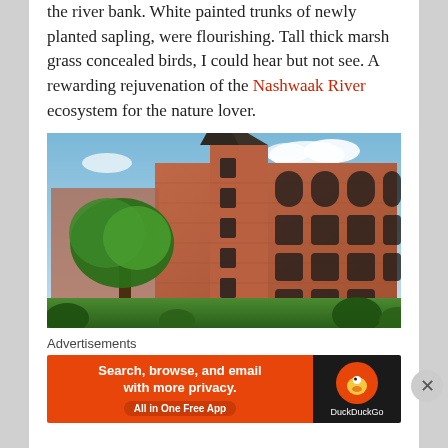the river bank. White painted trunks of newly planted sapling, were flourishing. Tall thick marsh grass concealed birds, I could hear but not see. A rewarding rejuvenation of the Nashwaak River ecosystem for the nature lover.
[Figure (photo): Exterior photo of a large red brick building with a central tower topped by a dark conical roof, surrounded by green trees, taken in summer daytime.]
Advertisements
[Figure (screenshot): DuckDuckGo advertisement banner: orange left panel reading 'Search, browse, and email with more privacy. All in One Free App' and dark right panel with DuckDuckGo duck logo and name.]